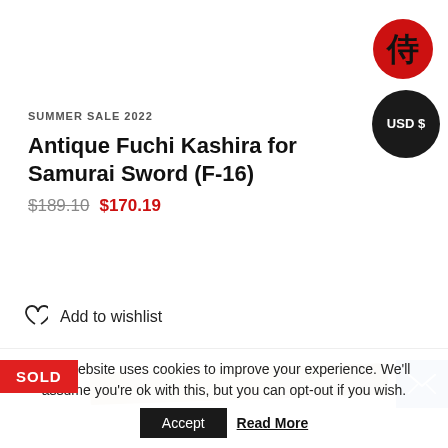[Figure (logo): Red circle with Japanese kanji character (samurai/侍) in black]
[Figure (other): Black circle badge with text USD $]
SUMMER SALE 2022
Antique Fuchi Kashira for Samurai Sword (F-16)
$189.10  $170.19
ADD TO CART
Add to wishlist
SOLD
This website uses cookies to improve your experience. We'll assume you're ok with this, but you can opt-out if you wish.
Accept  Read More